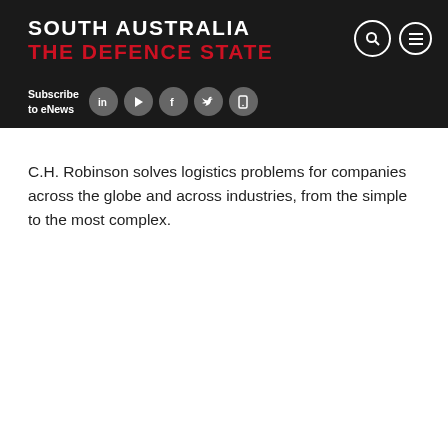SOUTH AUSTRALIA THE DEFENCE STATE
C.H. Robinson solves logistics problems for companies across the globe and across industries, from the simple to the most complex.